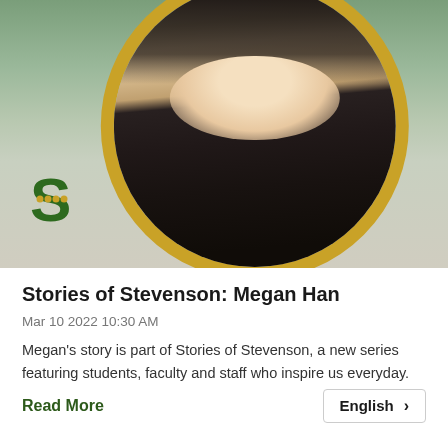[Figure (photo): Circular portrait photo of Megan Han, a young woman with long dark hair smiling, framed with a gold circle border. A green Stevenson 'S' logo appears in the lower left of the image area.]
Stories of Stevenson: Megan Han
Mar 10 2022 10:30 AM
Megan's story is part of Stories of Stevenson, a new series featuring students, faculty and staff who inspire us everyday.
Read More
English >